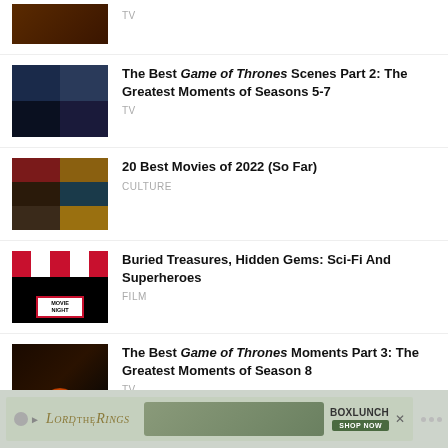TV
The Best Game of Thrones Scenes Part 2: The Greatest Moments of Seasons 5-7 — TV
20 Best Movies of 2022 (So Far) — CULTURE
Buried Treasures, Hidden Gems: Sci-Fi And Superheroes — FILM
The Best Game of Thrones Moments Part 3: The Greatest Moments of Season 8 — TV
[Figure (photo): Lord of the Rings BoxLunch advertisement banner at the bottom of the page]